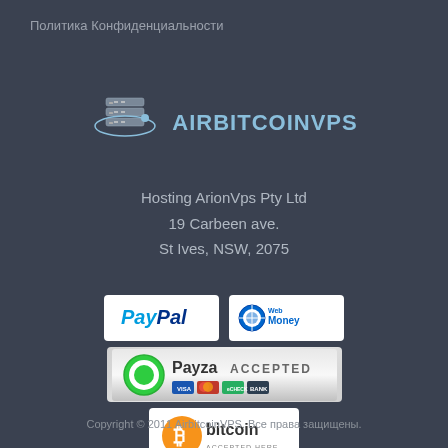Политика Конфиденциальности
[Figure (logo): AirBitcoinVPS logo with server stack icon and orbital ring, text AIRBITCOINVPS in blue]
Hosting ArionVps Pty Ltd
19 Carbeen ave.
St Ives, NSW, 2075
[Figure (logo): PayPal payment button logo]
[Figure (logo): WebMoney payment button logo]
[Figure (logo): Payza Accepted payment badge with card icons]
[Figure (logo): Bitcoin Accepted Here badge with orange bitcoin logo]
Copyright © 2011 AirbitcoinVPS. Все права защищены.